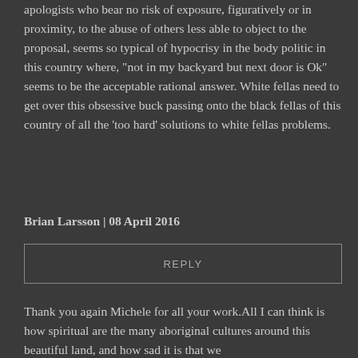apologists who bear no risk of exposure, figuratively or in proximity, to the abuse of others less able to object to the proposal, seems so typical of hypocrisy in the body politic in this country where, "not in my backyard but next door is Ok" seems to be the acceptable rational answer. White fellas need to get over this obsessive buck passing onto the black fellas of this country of all the 'too hard' solutions to white fellas problems.
Brian Larsson | 08 April 2016
REPLY
Thank you again Michele for all your work.All I can think is how spiritual are the many aboriginal cultures around this beautiful land, and how sad it is that we